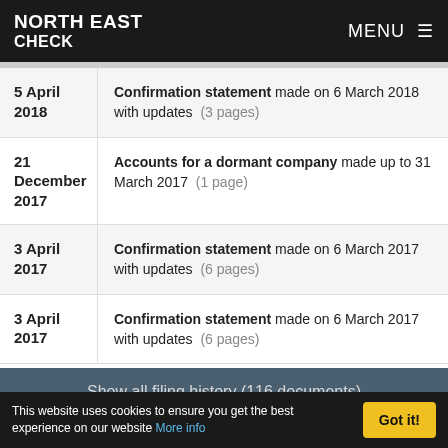NORTH EAST CHECK  MENU ≡
| Date | Filing |
| --- | --- |
| 5 April 2018 | Confirmation statement made on 6 March 2018 with updates  (3 pages) |
| 21 December 2017 | Accounts for a dormant company made up to 31 March 2017  (1 page) |
| 3 April 2017 | Confirmation statement made on 6 March 2017 with updates  (6 pages) |
| 3 April 2017 | Confirmation statement made on 6 March 2017 with updates  (6 pages) |
Show all filing history (116 documents)
This website uses cookies to ensure you get the best experience on our website More info
Got it!